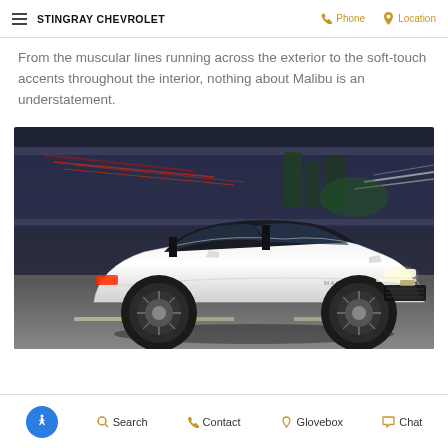STINGRAY CHEVROLET  Phone  Location
From the muscular lines running across the exterior to the soft-touch accents throughout the interior, nothing about Malibu is an understatement.
[Figure (photo): White Chevrolet Malibu sedan photographed at night on a highway overpass, with light trails and city lights in the background. The car is shown from a 3/4 front-right angle with LED headlights illuminated.]
Accessibility  Search  Contact  Glovebox  Chat